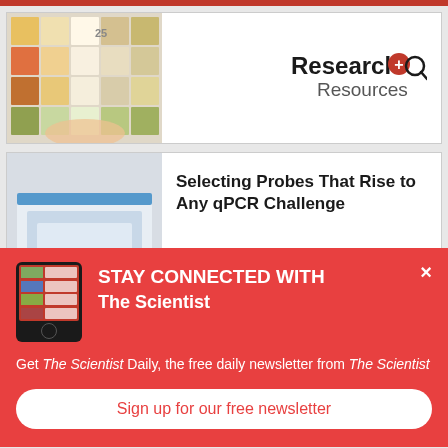[Figure (photo): Colorful tile grid image in ad card 1 (Research+ Resources advertisement)]
[Figure (logo): Research+ Resources logo with magnifying glass icon]
[Figure (photo): Laboratory scene with gloved hands and equipment for Biosearch qPCR ad]
Selecting Probes That Rise to Any qPCR Challenge
[Figure (logo): BIOSEARCH logo]
STAY CONNECTED WITH The Scientist
Get The Scientist Daily, the free daily newsletter from The Scientist
Sign up for our free newsletter